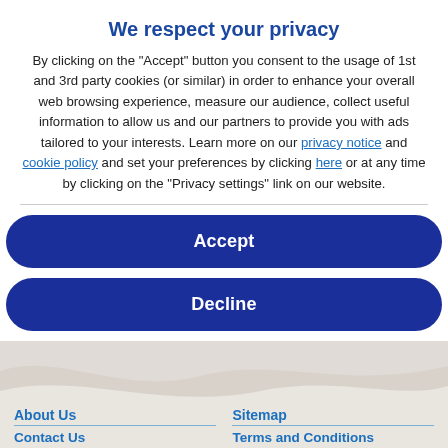We respect your privacy
By clicking on the "Accept" button you consent to the usage of 1st and 3rd party cookies (or similar) in order to enhance your overall web browsing experience, measure our audience, collect useful information to allow us and our partners to provide you with ads tailored to your interests. Learn more on our privacy notice and cookie policy and set your preferences by clicking here or at any time by clicking on the "Privacy settings" link on our website.
Accept
Decline
About Us
Sitemap
Contact Us
Terms and Conditions